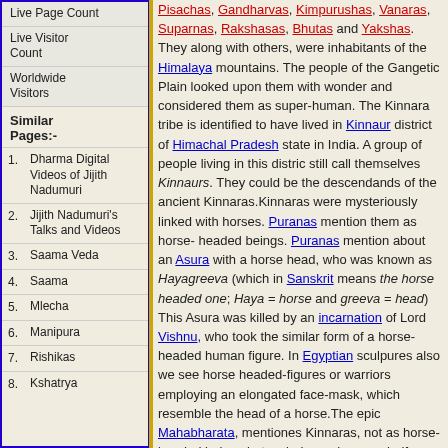Live Page Count
Live Visitor Count
Worldwide Visitors
Similar Pages:-
1. Dharma Digital Videos of Jijith Nadumuri
2. Jijith Nadumuri's Talks and Videos
3. Saama Veda
4. Saama
5. Mlecha
6. Manipura
7. Rishikas
8. Kshatrya
Pisachas, Gandharvas, Kimpurushas, Vanaras, Suparnas, Rakshasas, Bhutas and Yakshas. They along with others, were inhabitants of the Himalaya mountains. The people of the Gangetic Plain looked upon them with wonder and considered them as super-human. The Kinnara tribe is identified to have lived in Kinnaur district of Himachal Pradesh state in India. A group of people living in this distric still call themselves Kinnaurs. They could be the descendands of the ancient Kinnaras.Kinnaras were mysteriously linked with horses. Puranas mention them as horse-headed beings. Puranas mention about an Asura with a horse head, who was known as Hayagreeva (which in Sanskrit means the horse headed one; Haya = horse and greeva = head) This Asura was killed by an incarnation of Lord Vishnu, who took the similar form of a horse-headed human figure. In Egyptian sculpures also we see horse headed-figures or warriors employing an elongated face-mask, which resemble the head of a horse.The epic Mahabharata, mentiones Kinnaras, not as horse-headed beings but as beings who were half-man and half-horse. The epic Mahabharata and the Puranas describe, regions north to Himalayas as the abode of Kinnaras. This region was also the abode of a tribe of people called Kambojas. They were fierce warriors skilled in horse ride and horse warfare. Some of them were robber-tribes who invaded village-settlements, by raiding them using their skilled cavalry-forces. The myth of Kinnaras probably came from these horsemen.